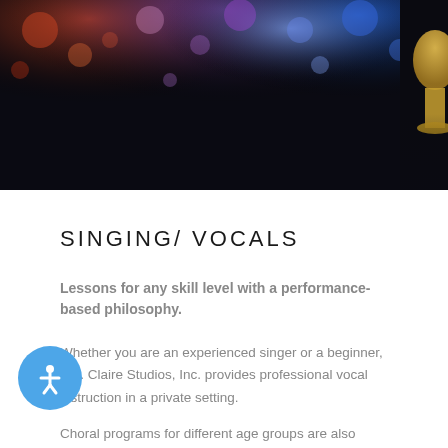[Figure (photo): Stage performance photo with colorful bokeh stage lights (red, blue, purple) against a dark background, with a partial view of a trophy or award on the right side.]
SINGING/ VOCALS
Lessons for any skill level with a performance-based philosophy.
Whether you are an experienced singer or a beginner, Ste. Claire Studios, Inc. provides professional vocal instruction in a private setting.
Choral programs for different age groups are also